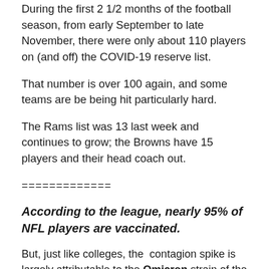During the first 2 1/2 months of the football season, from early September to late November, there were only about 110 players on (and off) the COVID-19 reserve list.
That number is over 100 again, and some teams are be being hit particularly hard.
The Rams list was 13 last week and continues to grow; the Browns have 15 players and their head coach out.
=============
According to the league, nearly 95% of NFL players are vaccinated.
But, just like colleges, the contagion spike is largely attributable to the Omicron strain of the virus, "cohorted vaccinations" and waning vaccine effectiveness.